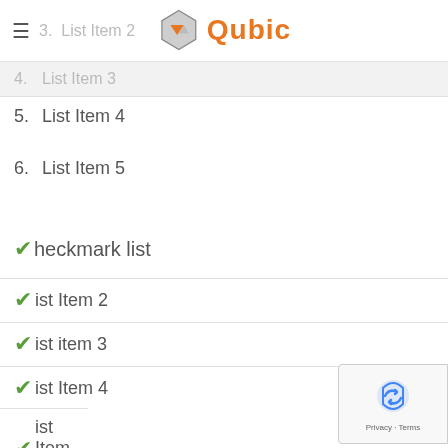≡ 3. List Item 2  Qubic
4.  List Item 3
5.  List Item 4
6.  List Item 5
✔ Checkmark list
✔ List Item 2
✔ List item 3
✔ List Item 4
✔ List Item 5
[Figure (logo): reCAPTCHA badge with Privacy and Terms text]